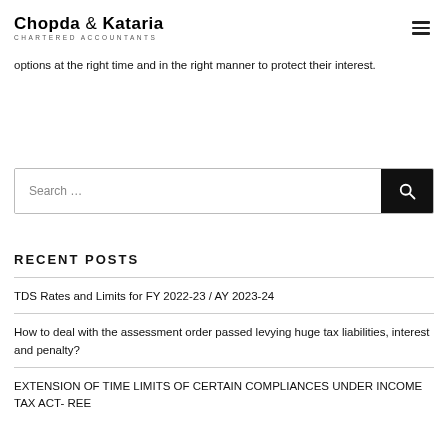Chopda & Kataria CHARTERED ACCOUNTANTS
options at the right time and in the right manner to protect their interest.
[Figure (other): Search bar with text input field labeled 'Search ...' and a black search button with magnifying glass icon]
RECENT POSTS
TDS Rates and Limits for FY 2022-23 / AY 2023-24
How to deal with the assessment order passed levying huge tax liabilities, interest and penalty?
EXTENSION OF TIME LIMITS OF CERTAIN COMPLIANCES UNDER INCOME TAX ACT- REE